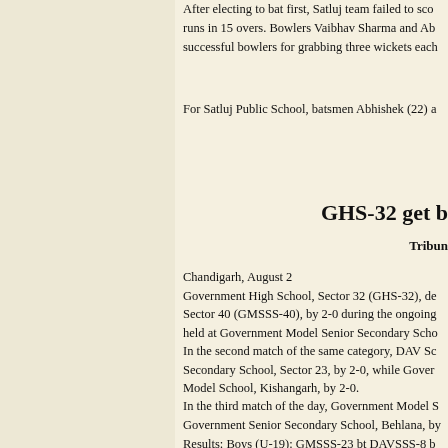After electing to bat first, Satluj team failed to score runs in 15 overs. Bowlers Vaibhav Sharma and Abh successful bowlers for grabbing three wickets each.
For Satluj Public School, batsmen Abhishek (22) a
GHS-32 get b
Tribune
Chandigarh, August 2
Government High School, Sector 32 (GHS-32), de Sector 40 (GMSSS-40), by 2-0 during the ongoing held at Government Model Senior Secondary Scho
In the second match of the same category, DAV Sc Secondary School, Sector 23, by 2-0, while Gover Model School, Kishangarh, by 2-0.
In the third match of the day, Government Model S Government Senior Secondary School, Behlana, by
Results: Boys (U-19): GMSSS-23 bt DAVSSS-8 b Behlana bt GMSSS-32 by 2-1; GMSSS-8 bt GMSS